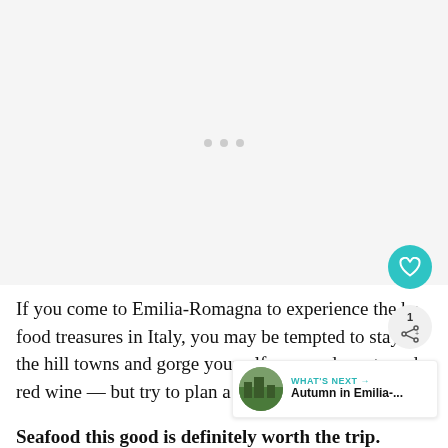[Figure (photo): Large image placeholder area with three dots/pagination indicators in the center, light gray background]
If you come to Emilia-Romagna to experience the be food treasures in Italy, you may be tempted to stay i the hill towns and gorge yourself on cured meats and red wine — but try to plan a visit to the coa
Seafood this good is definitely worth the trip.